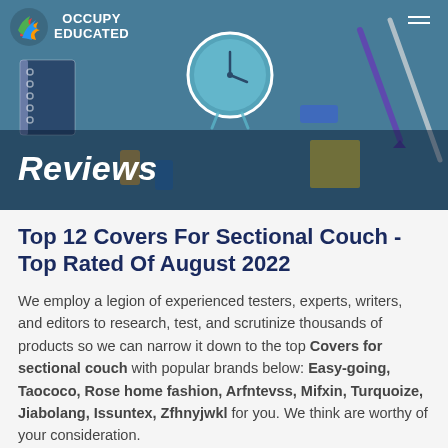[Figure (photo): Header banner with school/office supplies (clock, pens, notebooks, sticky notes) on teal background with 'Occupy Educated' logo and 'Reviews' title overlay]
Top 12 Covers For Sectional Couch - Top Rated Of August 2022
We employ a legion of experienced testers, experts, writers, and editors to research, test, and scrutinize thousands of products so we can narrow it down to the top Covers for sectional couch with popular brands below: Easy-going, Taococo, Rose home fashion, Arfntevss, Mifxin, Turquoize, Jiabolang, Issuntex, Zfhnyjwkl for you. We think are worthy of your consideration.